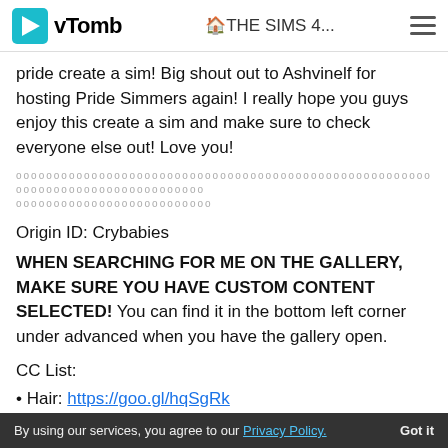vTomb | 🏠THE SIMS 4...
pride create a sim! Big shout out to Ashvinelf for hosting Pride Simmers again! I really hope you guys enjoy this create a sim and make sure to check everyone else out! Love you!
oooooooooooooooooooooooooooooooooooooooooooooooooooooooooooooooooooooooooooooooo oooooooooooooooooooooooooo
Origin ID: Crybabies
WHEN SEARCHING FOR ME ON THE GALLERY, MAKE SURE YOU HAVE CUSTOM CONTENT SELECTED! You can find it in the bottom left corner under advanced when you have the gallery open.
CC List:
• Hair: https://goo.gl/hqSgRk
• Skin: https://goo.gl/6f2Fkq
• Eyes (Moderately): https://goo.gl/1JB25d
• Eyebrows: (partially obscured)
• Eyeliner: https://goo.gl/TqExH
By using our services, you agree to our Privacy Policy. Got it